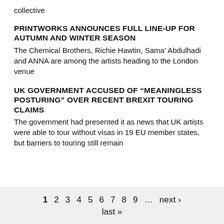collective
PRINTWORKS ANNOUNCES FULL LINE-UP FOR AUTUMN AND WINTER SEASON
The Chemical Brothers, Richie Hawtin, Sama' Abdulhadi and ANNA are among the artists heading to the London venue
UK GOVERNMENT ACCUSED OF “MEANINGLESS POSTURING” OVER RECENT BREXIT TOURING CLAIMS
The government had presented it as news that UK artists were able to tour without visas in 19 EU member states, but barriers to touring still remain
1 2 3 4 5 6 7 8 9 … next › last »